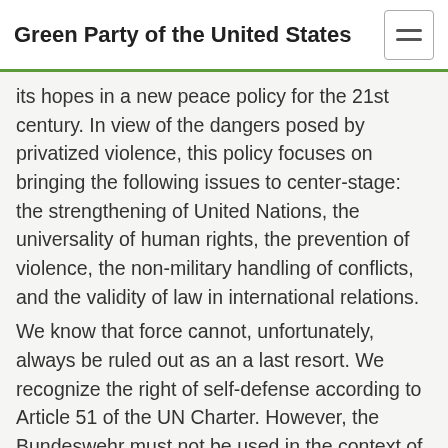Green Party of the United States
its hopes in a new peace policy for the 21st century. In view of the dangers posed by privatized violence, this policy focuses on bringing the following issues to center-stage: the strengthening of United Nations, the universality of human rights, the prevention of violence, the non-military handling of conflicts, and the validity of law in international relations.
We know that force cannot, unfortunately, always be ruled out as an a last resort. We recognize the right of self-defense according to Article 51 of the UN Charter. However, the Bundeswehr must not be used in the context of a classic intervention, although it can participate in international operations to keep and restore peace based on a mandate of the United Nations.